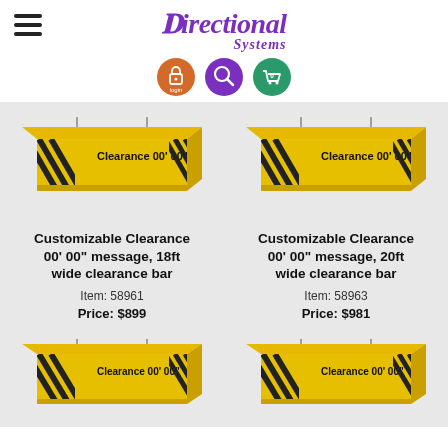Directional Systems
[Figure (logo): Directional Systems logo with purple italic text]
[Figure (illustration): Navigation icons: login (orange), search (purple), cart (green) with 0 count]
[Figure (photo): Yellow clearance bar sign reading Clearance 00' 00", 18ft wide]
Customizable Clearance 00' 00" message, 18ft wide clearance bar
Item: 58961
Price: $899
[Figure (photo): Yellow clearance bar sign reading Clearance 00' 00", 20ft wide]
Customizable Clearance 00' 00" message, 20ft wide clearance bar
Item: 58963
Price: $981
[Figure (photo): Yellow clearance bar sign reading Clearance 00' 00" (bottom left)]
[Figure (photo): Yellow clearance bar sign reading Clearance 00' 00" (bottom right)]